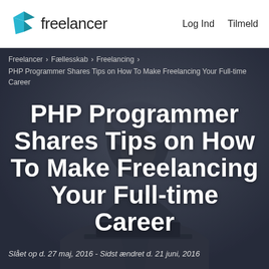freelancer   Log Ind   Tilmeld
Freelancer › Fællesskab › Freelancing › PHP Programmer Shares Tips on How To Make Freelancing Your Full-time Career
[Figure (photo): Dark silhouette of a person wearing a turban, sitting in front of a laptop, viewed from the side in low light]
PHP Programmer Shares Tips on How To Make Freelancing Your Full-time Career
Slået op d. 27 maj, 2016 - Sidst ændret d. 21 juni, 2016